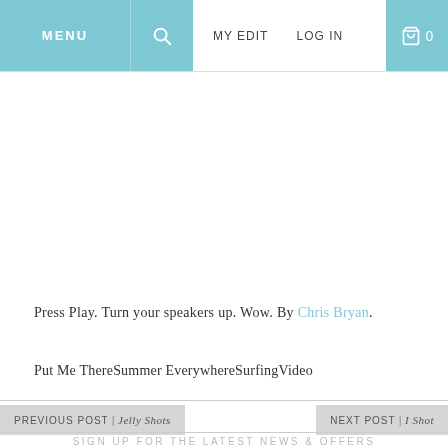MENU | [search] | MY EDIT | LOG IN | [cart] 0
Press Play. Turn your speakers up. Wow. By Chris Bryan.
Put Me ThereSummer EverywhereSurfingVideo
PREVIOUS POST | Jelly Shots
NEXT POST | I Shot
SIGN UP FOR THE LATEST NEWS & OFFERS